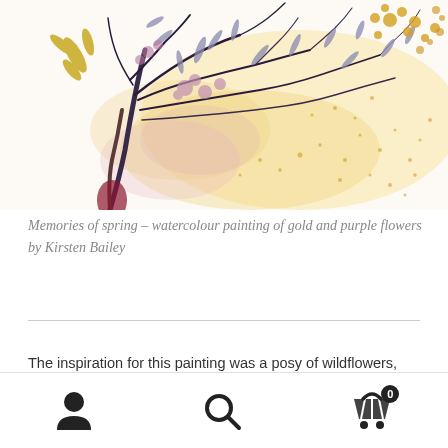[Figure (illustration): Watercolour painting showing a tree with branches bearing gold and purple flower-like leaves and blossoms, painted in soft yellows, golds, mauves and purples on a white background, with ink splatter details]
Memories of spring – watercolour painting of gold and purple flowers by Kirsten Bailey
The inspiration for this painting was a posy of wildflowers, picked in the spring and beginning to dry and wilt as spring
User icon | Search icon | Cart icon (0)